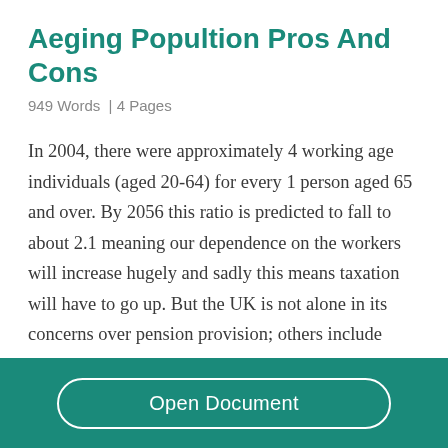Aeging Popultion Pros And Cons
949 Words  | 4 Pages
In 2004, there were approximately 4 working age individuals (aged 20-64) for every 1 person aged 65 and over. By 2056 this ratio is predicted to fall to about 2.1 meaning our dependence on the workers will increase hugely and sadly this means taxation will have to go up. But the UK is not alone in its concerns over pension provision; others include China whose elderly population could double
Open Document